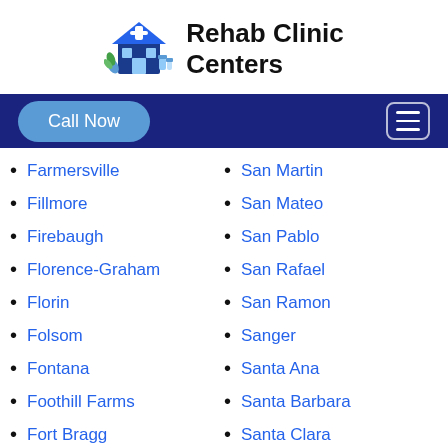Rehab Clinic Centers
Farmersville
Fillmore
Firebaugh
Florence-Graham
Florin
Folsom
Fontana
Foothill Farms
Fort Bragg
Fort Irwin
San Martin
San Mateo
San Pablo
San Rafael
San Ramon
Sanger
Santa Ana
Santa Barbara
Santa Clara
Santa Clarita